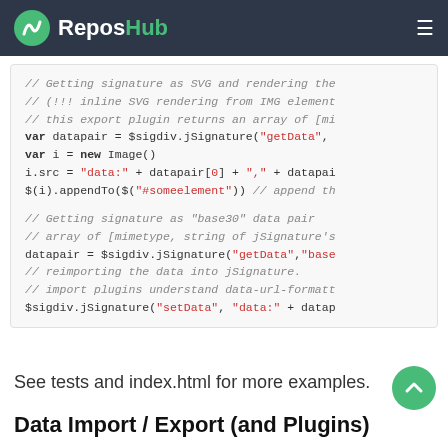ReposHub
[Figure (screenshot): Code block showing JavaScript code for getting signature as SVG and base30 data, using jSignature API with getData and setData calls]
See tests and index.html for more examples.
Data Import / Export (and Plugins)